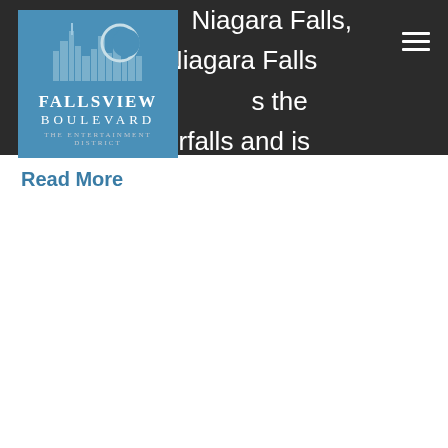luxury hotel in Niagara Falls, this Marriott Niagara Falls Hotel overlooks the majestic waterfalls and is located just minutes from a variety of exciting attractions and
[Figure (logo): Fallsview Boulevard - The Entertainment District logo on a blue background with skyline and moon graphic]
Read More